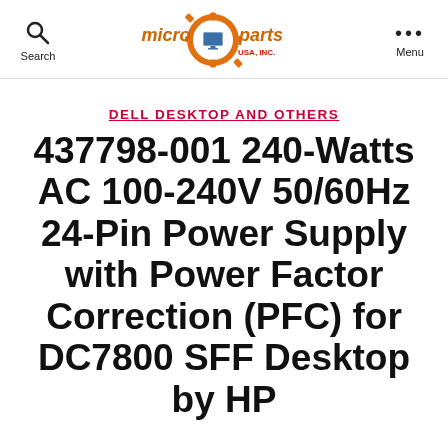Search | micro parts USA, INC. | Menu
DELL DESKTOP AND OTHERS
437798-001 240-Watts AC 100-240V 50/60Hz 24-Pin Power Supply with Power Factor Correction (PFC) for DC7800 SFF Desktop by HP